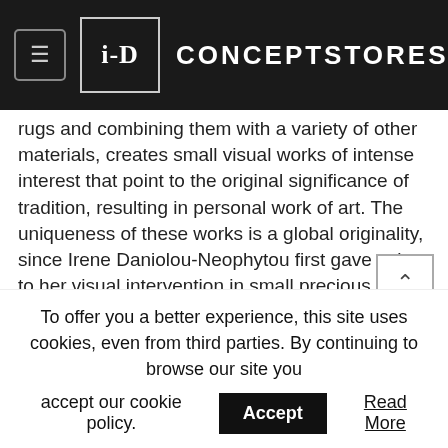i-D CONCEPTSTORES
rugs and combining them with a variety of other materials, creates small visual works of intense interest that point to the original significance of tradition, resulting in personal work of art. The uniqueness of these works is a global originality, since Irene Daniolou-Neophytou first gave value to her visual intervention in small precious pieces of old carpets. Duration: 3 November until 8 December 2018. Opening hours: Monday, Wednesday, Saturday 10.00 -19.00. Tuesday, Thursday, Friday, 10.00-21.00 i-D ProjectArt Kanari 10, Kolonaki 10674, tel.
To offer you a better experience, this site uses cookies, even from third parties. By continuing to browse our site you accept our cookie policy.